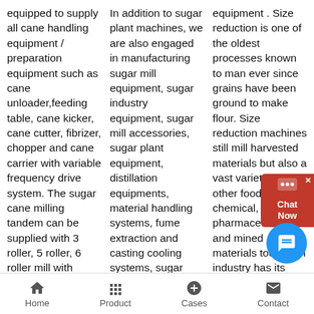equipped to supply all cane handling equipment / preparation equipment such as cane unloader,feeding table, cane kicker, cane cutter, fibrizer, chopper and cane carrier with variable frequency drive system. The sugar cane milling tandem can be supplied with 3 roller, 5 roller, 6 roller mill with
In addition to sugar plant machines, we are also engaged in manufacturing sugar mill equipment, sugar industry equipment, sugar mill accessories, sugar plant equipment, distillation equipments, material handling systems, fume extraction and casting cooling systems, sugar
equipment . Size reduction is one of the oldest processes known to man ever since grains have been ground to make flour. Size reduction machines still mill harvested materials but also a vast variety of other food, chemical, pharmaceutical and mined materials too. Each industry has its own
[Figure (screenshot): Chat Now widget button in red on right side]
[Figure (screenshot): Blue circular chat button]
Home   Product   Cases   Contact